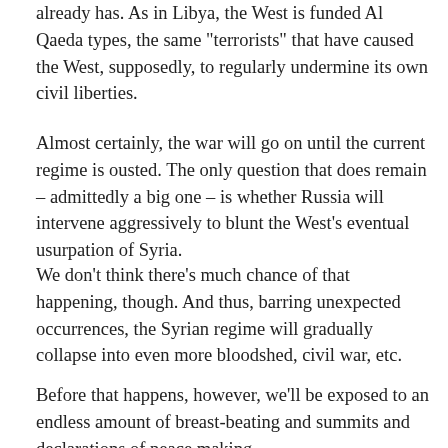already has. As in Libya, the West is funded Al Qaeda types, the same "terrorists" that have caused the West, supposedly, to regularly undermine its own civil liberties.
Almost certainly, the war will go on until the current regime is ousted. The only question that does remain – admittedly a big one – is whether Russia will intervene aggressively to blunt the West's eventual usurpation of Syria.
We don't think there's much chance of that happening, though. And thus, barring unexpected occurrences, the Syrian regime will gradually collapse into even more bloodshed, civil war, etc.
Before that happens, however, we'll be exposed to an endless amount of breast-beating and summits and declarations of peace making.
[Figure (photo): A red envelope with a white letter and a pen on top, partially showing a handwritten signature]
After Thoughts
It happened in Libya and it's happening